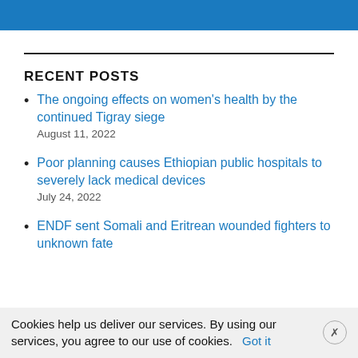RECENT POSTS
The ongoing effects on women's health by the continued Tigray siege
August 11, 2022
Poor planning causes Ethiopian public hospitals to severely lack medical devices
July 24, 2022
ENDF sent Somali and Eritrean wounded fighters to unknown fate
Cookies help us deliver our services. By using our services, you agree to our use of cookies.   Got it